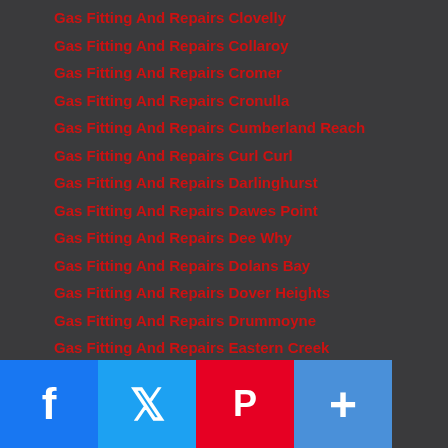Gas Fitting And Repairs Clovelly
Gas Fitting And Repairs Collaroy
Gas Fitting And Repairs Cromer
Gas Fitting And Repairs Cronulla
Gas Fitting And Repairs Cumberland Reach
Gas Fitting And Repairs Curl Curl
Gas Fitting And Repairs Darlinghurst
Gas Fitting And Repairs Dawes Point
Gas Fitting And Repairs Dee Why
Gas Fitting And Repairs Dolans Bay
Gas Fitting And Repairs Dover Heights
Gas Fitting And Repairs Drummoyne
Gas Fitting And Repairs Eastern Creek
Gas Fitting And Repairs Eastgardens
Gas Fitting And Repairs Eastlakes
Gas Fitting And Repairs Elderslie
Gas Fitting And Repairs Eschol Park
Gas Fitting And Repairs Faraday Park
Gas Fitting And Repairs [Fi]ve Dock